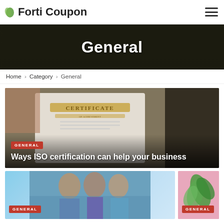Forti Coupon
General
Home > Category > General
[Figure (photo): Person holding a certificate of achievement document, with article overlay showing GENERAL tag and title 'Ways ISO certification can help your business']
[Figure (photo): Three women in swimwear smiling, with GENERAL tag badge at bottom left]
[Figure (photo): Green plant on pink background, with GENERAL tag badge at bottom left]